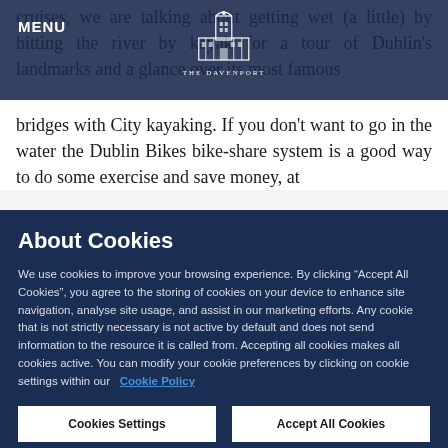MENU | THE DAVENPORT
cruises, we are talking about getting wet (a little) by hitting the river by kayak for a tour of Dublin's landmarks and a glance over its most famous bridges with City kayaking. If you don't want to go in the water the Dublin Bikes bike-share system is a good way to do some exercise and save money, at
About Cookies
We use cookies to improve your browsing experience. By clicking “Accept All Cookies”, you agree to the storing of cookies on your device to enhance site navigation, analyse site usage, and assist in our marketing efforts. Any cookie that is not strictly necessary is not active by default and does not send information to the resource it is called from. Accepting all cookies makes all cookies active. You can modify your cookie preferences by clicking on cookie settings within our  Cookie Policy
Cookies Settings
Accept All Cookies